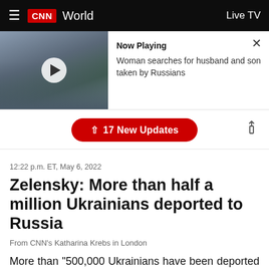CNN World | Live TV
[Figure (screenshot): Video thumbnail showing a woman with eyes closed, hands on chest. Now Playing: Woman searches for husband and son taken by Russians]
↑ 17 New Updates
12:22 p.m. ET, May 6, 2022
Zelensky: More than half a million Ukrainians deported to Russia
From CNN's Katharina Krebs in London
More than "500,000 Ukrainians have been deported to Russia" since the start of Russia's war in Ukraine, President Volodymyr Zelensky said during an address to the Parliament of Iceland on Friday.